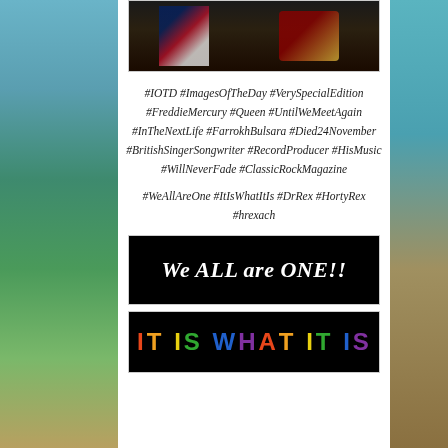[Figure (photo): Partial photo of Freddie Mercury with Union Jack flag and red/gold object visible against dark background]
#IOTD #ImagesOfTheDay #VerySpecialEdition #FreddieMercury #Queen #UntilWeMeetAgain #InTheNextLife #FarrokhBulsara #Died24November #BritishSingerSongwriter #RecordProducer #HisMusic #WillNeverFade #ClassicRockMagazine
#WeAllAreOne #ItIsWhatItIs #DrRex #HortyRex #hrexach
[Figure (illustration): Black banner with white italic bold text reading 'We ALL are ONE!!']
[Figure (illustration): Black banner with colorful rainbow text reading 'IT IS WHAT IT IS']